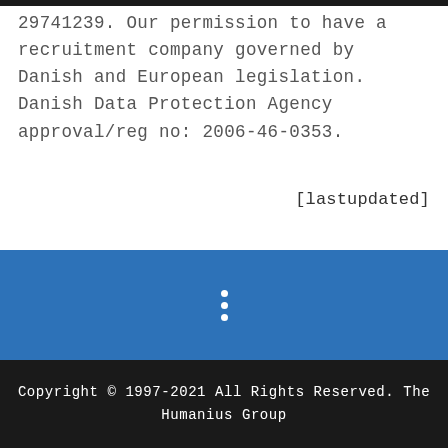29741239. Our permission to have a recruitment company governed by Danish and European legislation. Danish Data Protection Agency approval/reg no: 2006-46-0353.
[lastupdated]
[Figure (other): Blue bar with three vertical white dots icon (ellipsis/more options)]
Copyright © 1997-2021 All Rights Reserved. The Humanius Group